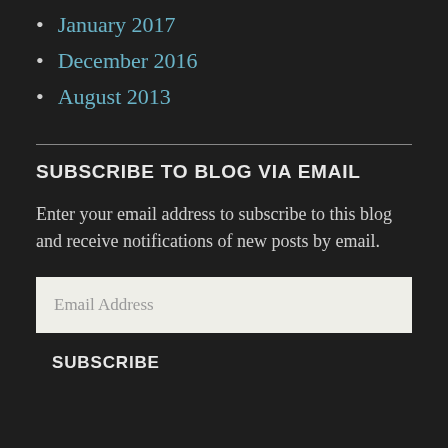January 2017
December 2016
August 2013
SUBSCRIBE TO BLOG VIA EMAIL
Enter your email address to subscribe to this blog and receive notifications of new posts by email.
Email Address
SUBSCRIBE